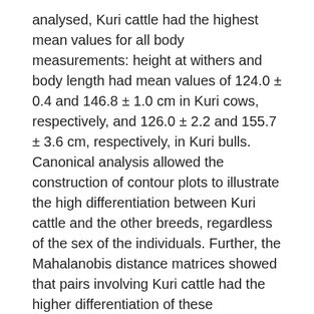analysed, Kuri cattle had the highest mean values for all body measurements: height at withers and body length had mean values of 124.0 ± 0.4 and 146.8 ± 1.0 cm in Kuri cows, respectively, and 126.0 ± 2.2 and 155.7 ± 3.6 cm, respectively, in Kuri bulls. Canonical analysis allowed the construction of contour plots to illustrate the high differentiation between Kuri cattle and the other breeds, regardless of the sex of the individuals. Further, the Mahalanobis distance matrices showed that pairs involving Kuri cattle had the higher differentiation of these populations. Correspondence analysis carried out on these 11 qualitative traits allowed the researchers to ascertain a clear differentiation between the Kuri and the other taurine cattle breeds. The N'Dama, Lagunaire, Lobi, and Somba breeds did not show clear differentiation at qualitative-type trait level with 75% confidence regions computed for these four breeds being highly intermingled. In the current data, Kuri cattle had the highest frequency in qualitative features, such as concave cephalic profile, dropped ears, non-pigmented muzzle and grey-coloured horns, which are